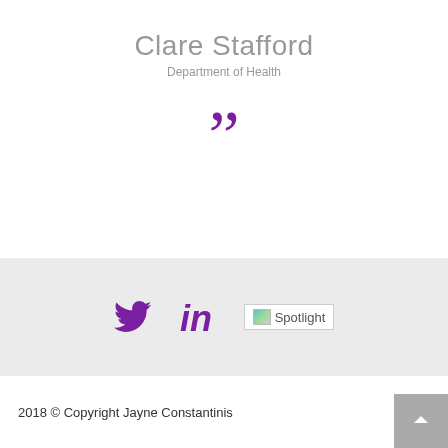Clare Stafford
Department of Health
[Figure (other): Large purple right double quotation mark decorative symbol]
[Figure (other): Social media icons: Twitter bird icon, LinkedIn 'in' icon, and Spotlight logo placeholder in grey band]
2018 © Copyright Jayne Constantinis